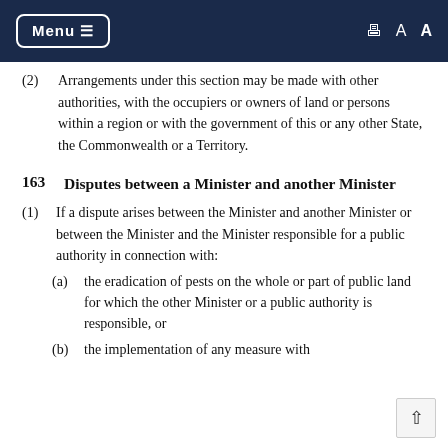Menu ≡   🖨 A A
(2) Arrangements under this section may be made with other authorities, with the occupiers or owners of land or persons within a region or with the government of this or any other State, the Commonwealth or a Territory.
163   Disputes between a Minister and another Minister
(1) If a dispute arises between the Minister and another Minister or between the Minister and the Minister responsible for a public authority in connection with:
(a) the eradication of pests on the whole or part of public land for which the other Minister or a public authority is responsible, or
(b) the implementation of any measure with